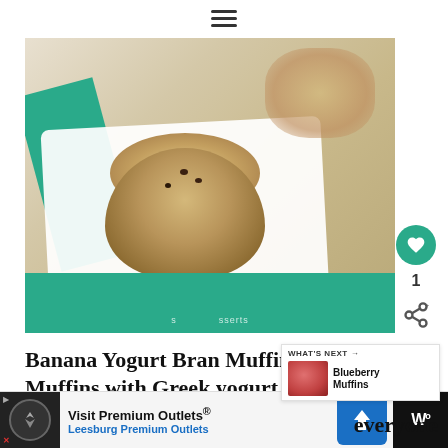[Figure (photo): A bran muffin with chocolate chips on a white square plate with a teal/green cloth napkin underneath. Background shows another muffin out of focus. Watermark text partially visible at bottom of photo.]
Banana Yogurt Bran Muffins – Moist Muffins with Greek yogurt, and bran cereal. Plus chocolate chips, because everyday should be...
[Figure (screenshot): WHAT'S NEXT widget showing Blueberry Muffins thumbnail]
Visit Premium Outlets® Leesburg Premium Outlets
everyone